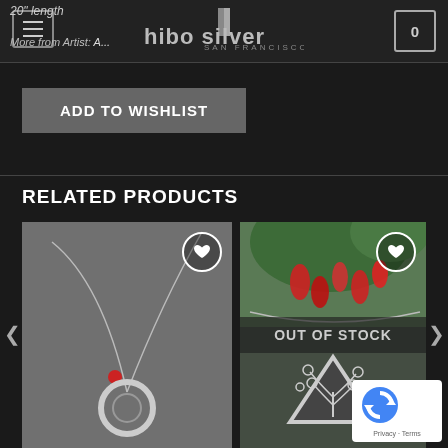20" length | Hiho Silver San Francisco | More from Artist: A...
ADD TO WISHLIST
RELATED PRODUCTS
[Figure (photo): Silver circle pendant with red bead on a thin wire necklace against a dark stone background]
[Figure (photo): Tree of life silver pendant necklace against a background of red flowers and pine needles, with OUT OF STOCK overlay]
[Figure (other): Google reCAPTCHA badge with Privacy and Terms links]